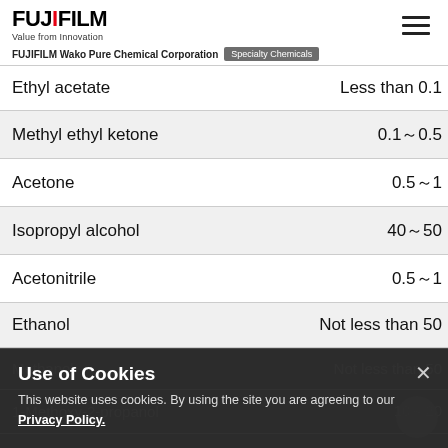FUJIFILM Value from Innovation
FUJIFILM Wako Pure Chemical Corporation | Specialty Chemicals
| Substance | Content (%) |
| --- | --- |
| Ethyl acetate | Less than 0.1 |
| Methyl ethyl ketone | 0.1～0.5 |
| Acetone | 0.5～1 |
| Isopropyl alcohol | 40～50 |
| Acetonitrile | 0.5～1 |
| Ethanol | Not less than 50 |
| Methanol | Not less than 50 |
| 1-Methoxy-2-propanol | 10～20 |
| Water | Not less than 5 |
Use of Cookies — This website uses cookies. By using the site you are agreeing to our Privacy Policy.